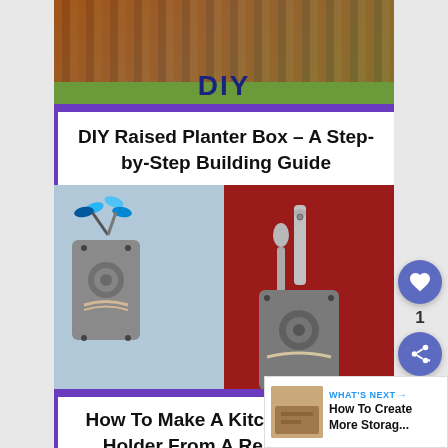[Figure (photo): Top photo of a raised planter box made of wood in a garden setting, with DIY text overlay on a purple banner]
DIY Raised Planter Box – A Step-by-Step Building Guide
[Figure (photo): Photo of a kitchen utensil holder made from a repurposed cutting board, shown on blue and red backgrounds with scissors and spoons]
How To Make A Kitchen Utensil Holder From A Repurposed Cutting Board
WHAT'S NEXT → How To Create More Storag...